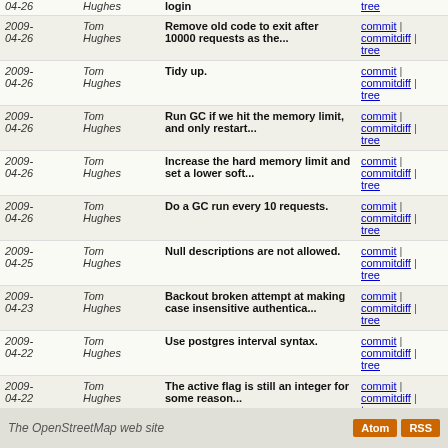| Date | Author | Message | Links |
| --- | --- | --- | --- |
| 2009-04-26 | Tom Hughes | Remove old code to exit after 10000 requests as the... | commit | commitdiff | tree |
| 2009-04-26 | Tom Hughes | Tidy up. | commit | commitdiff | tree |
| 2009-04-26 | Tom Hughes | Run GC if we hit the memory limit, and only restart... | commit | commitdiff | tree |
| 2009-04-26 | Tom Hughes | Increase the hard memory limit and set a lower soft... | commit | commitdiff | tree |
| 2009-04-26 | Tom Hughes | Do a GC run every 10 requests. | commit | commitdiff | tree |
| 2009-04-25 | Tom Hughes | Null descriptions are not allowed. | commit | commitdiff | tree |
| 2009-04-23 | Tom Hughes | Backout broken attempt at making case insensitive authentica... | commit | commitdiff | tree |
| 2009-04-22 | Tom Hughes | Use postgres interval syntax. | commit | commitdiff | tree |
| 2009-04-22 | Tom Hughes | The active flag is still an integer for some reason... | commit | commitdiff | tree |
| 2009-04-21 | Tom Hughes | Fixed search controller to have some chance of working. | commit | commitdiff | tree |
| 2009-04-21 | Tom Hughes | Force selection to fail when no traces match the tag. | commit | commitdiff | tree |
next
The OpenStreetMap web site